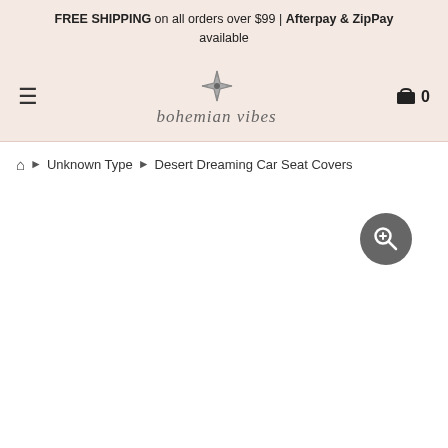FREE SHIPPING on all orders over $99 | Afterpay & ZipPay available
[Figure (logo): Bohemian Vibes logo with decorative compass/star icon and cursive text 'bohemian vibes']
Desert Dreaming Car Seat Covers breadcrumb: Home > Unknown Type > Desert Dreaming Car Seat Covers
[Figure (other): Product image area with zoom/search magnifier button in top right]